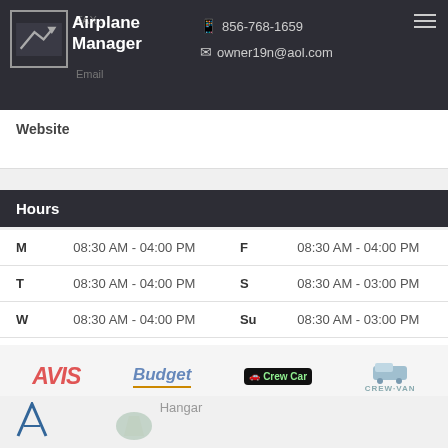Airplane Manager — FAX ... Email ... 856-768-1659 owner19n@aol.com
Website
Hours
| Day | Hours | Day | Hours |
| --- | --- | --- | --- |
| M | 08:30 AM - 04:00 PM | F | 08:30 AM - 04:00 PM |
| T | 08:30 AM - 04:00 PM | S | 08:30 AM - 03:00 PM |
| W | 08:30 AM - 04:00 PM | Su | 08:30 AM - 03:00 PM |
| Th | 08:30 AM - 04:00 PM |  |  |
[Figure (logo): AVIS, Budget, Crew Car, Crew Van, Customs, Dollar, Enterprise rent-a-car, Car rental, Go (airline), Hangar logos]